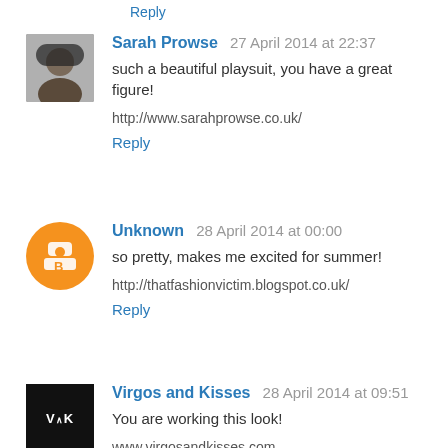Reply
Sarah Prowse  27 April 2014 at 22:37
such a beautiful playsuit, you have a great figure!
http://www.sarahprowse.co.uk/
Reply
Unknown  28 April 2014 at 00:00
so pretty, makes me excited for summer!
http://thatfashionvictim.blogspot.co.uk/
Reply
Virgos and Kisses  28 April 2014 at 09:51
You are working this look!
www.virgosandkisses.com